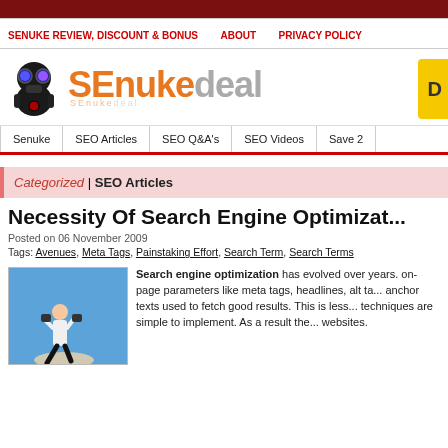SENUKE REVIEW, DISCOUNT & BONUS | ABOUT | PRIVACY POLICY
[Figure (logo): SEnukeDeal logo with robot mascot wearing gas mask and binoculars, orange and grey text reading SEnukedeal, yellow badge on right]
Senuke | SEO Articles | SEO Q&A's | SEO Videos | Save 2
Categorized | SEO Articles
Necessity Of Search Engine Optimizat...
Posted on 06 November 2009
Tags: Avenues, Meta Tags, Painstaking Effort, Search Term, Search Terms
[Figure (photo): Person in white shirt and dark pants standing on a surface against a blue sky, looking through binoculars]
Search engine optimization has evolved over years. on-page parameters like meta tags, headlines, alt ta... anchor texts used to fetch good results. This is less... techniques are simple to implement. As a result the... websites.